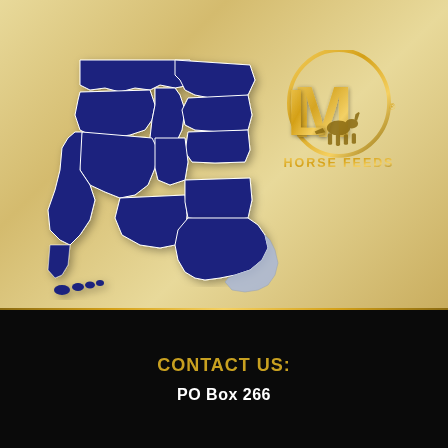[Figure (map): Map showing western US states (Washington, Oregon, California, Nevada, Idaho, Montana, Wyoming, Colorado, Utah, Arizona, New Mexico, Hawaii, Texas highlighted in dark navy blue, with partial Texas in light blue/white)]
[Figure (logo): LM Horse Feeds logo — gold M with L overlaid, horse silhouette, oval ring, text HORSE FEEDS below in gold]
CONTACT US:
PO Box 266